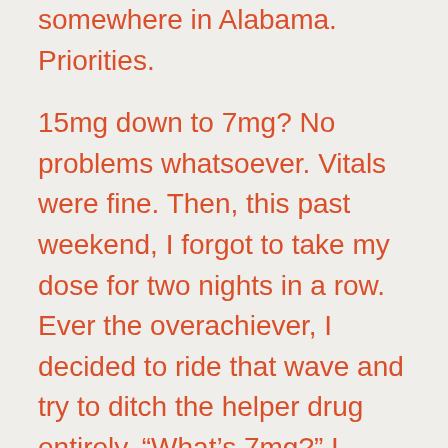somewhere in Alabama. Priorities.
15mg down to 7mg? No problems whatsoever. Vitals were fine. Then, this past weekend, I forgot to take my dose for two nights in a row. Ever the overachiever, I decided to ride that wave and try to ditch the helper drug entirely. “What’s 7mg?” I speculated.
What, indeed.
Yesterday marked the 4th day of withdrawal. Waking up at 8:20am, having dead-slept through two alarms, I thought